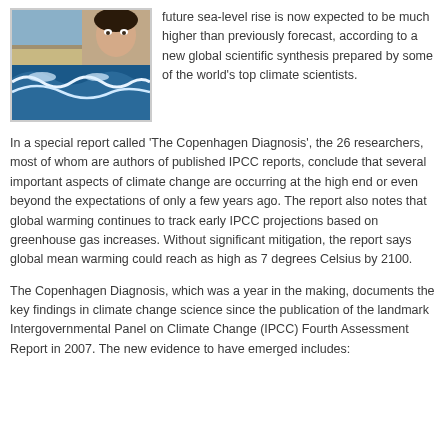[Figure (photo): Collage of climate-related images including a beach/coastal scene, a person's face partially visible, and large ocean waves crashing.]
future sea-level rise is now expected to be much higher than previously forecast, according to a new global scientific synthesis prepared by some of the world's top climate scientists.
In a special report called 'The Copenhagen Diagnosis', the 26 researchers, most of whom are authors of published IPCC reports, conclude that several important aspects of climate change are occurring at the high end or even beyond the expectations of only a few years ago. The report also notes that global warming continues to track early IPCC projections based on greenhouse gas increases. Without significant mitigation, the report says global mean warming could reach as high as 7 degrees Celsius by 2100.
The Copenhagen Diagnosis, which was a year in the making, documents the key findings in climate change science since the publication of the landmark Intergovernmental Panel on Climate Change (IPCC) Fourth Assessment Report in 2007. The new evidence to have emerged includes: